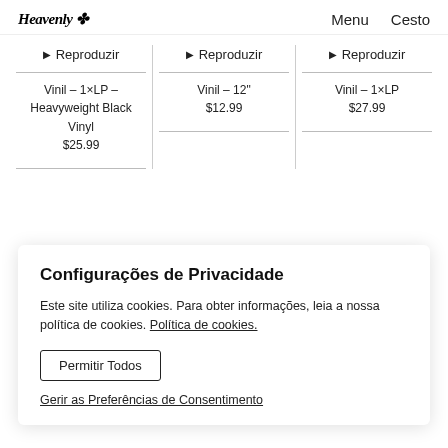Heavenly — Menu  Cesto
▶ Reproduzir — Vinil – 1×LP – Heavyweight Black Vinyl $25.99
▶ Reproduzir — Vinil – 12" $12.99
▶ Reproduzir — Vinil – 1×LP $27.99
Configurações de Privacidade
Este site utiliza cookies. Para obter informações, leia a nossa política de cookies. Política de cookies.
Permitir Todos
Gerir as Preferências de Consentimento